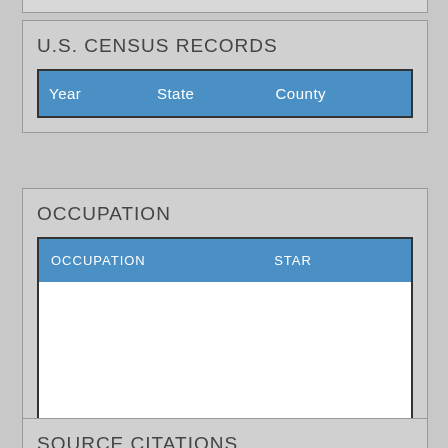U.S. CENSUS RECORDS
| Year | State | County |
| --- | --- | --- |
OCCUPATION
| OCCUPATION | STAR |
| --- | --- |
|  |
SOURCE CITATIONS